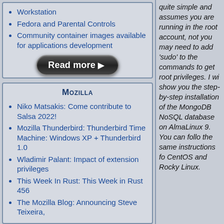Workstation
Fedora and Parental Controls
Community container images available for applications development
[Figure (other): Read more button - dark rounded rectangle button with white text 'Read more ▶']
Mozilla
Niko Matsakis: Come contribute to Salsa 2022!
Mozilla Thunderbird: Thunderbird Time Machine: Windows XP + Thunderbird 1.0
Wladimir Palant: Impact of extension privileges
This Week In Rust: This Week in Rust 456
The Mozilla Blog: Announcing Steve Teixeira,
quite simple and assumes you are running in the root account, not you may need to add 'sudo' to the commands to get root privileges. I will show you the step-by-step installation of the MongoDB NoSQL database on AlmaLinux 9. You can follow the same instructions for CentOS and Rocky Linux.